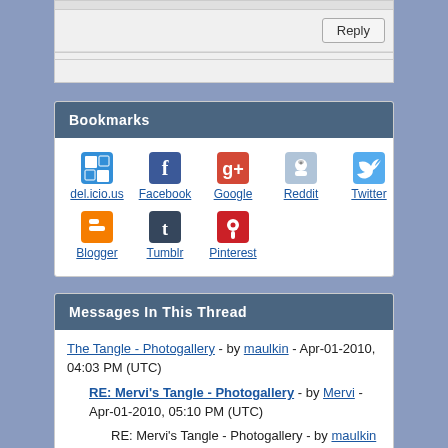Reply
Bookmarks
[Figure (infographic): Bookmark sharing icons: del.icio.us, Facebook, Google, Reddit, Twitter, Blogger, Tumblr, Pinterest]
Messages In This Thread
The Tangle - Photogallery - by maulkin - Apr-01-2010, 04:03 PM (UTC)
RE: Mervi's Tangle - Photogallery - by Mervi - Apr-01-2010, 05:10 PM (UTC)
RE: Mervi's Tangle - Photogallery - by maulkin -